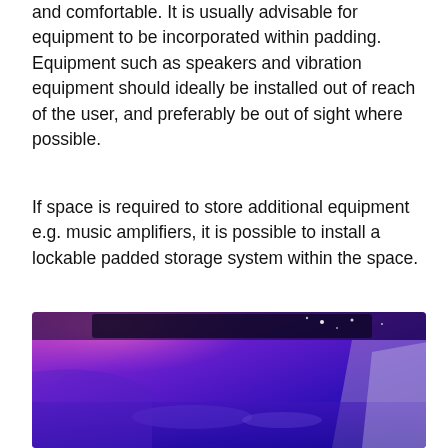and comfortable. It is usually advisable for equipment to be incorporated within padding. Equipment such as speakers and vibration equipment should ideally be installed out of reach of the user, and preferably be out of sight where possible.
If space is required to store additional equipment e.g. music amplifiers, it is possible to install a lockable padded storage system within the space.
[Figure (photo): Photo of a sensory room with purple and blue lighting, padded interior, dark ceiling with star-like lights, and an orange MENU button overlay at the bottom.]